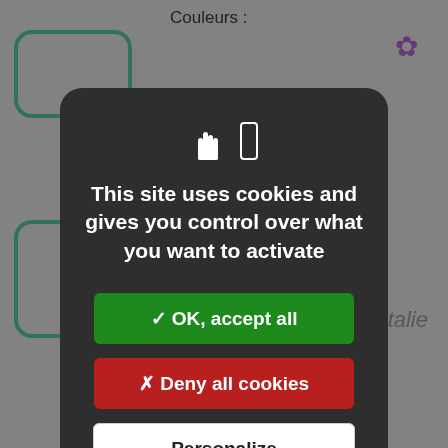[Figure (screenshot): Background webpage showing product listing with 'Couleurs :' label, green rounded square UI elements, flower decorations, 'italie' text, 'Couleurs :' and 'Vendu par : 1' text, overlaid with a semi-transparent dark overlay.]
This site uses cookies and gives you control over what you want to activate
✓ OK, accept all
✗ Deny all cookies
Personalize